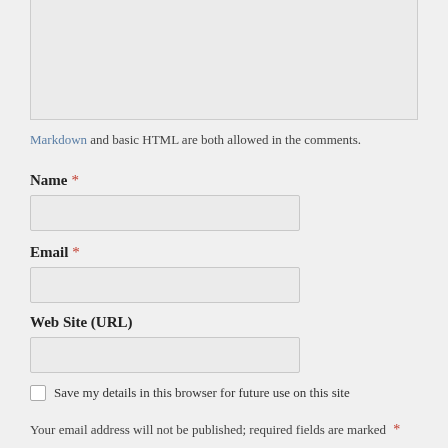[Figure (screenshot): A grey textarea/text input box, partially visible at top of page, representing a comment entry field.]
Markdown and basic HTML are both allowed in the comments.
Name *
[Figure (screenshot): Name input field, empty text box]
Email *
[Figure (screenshot): Email input field, empty text box]
Web Site (URL)
[Figure (screenshot): Web Site URL input field, empty text box]
Save my details in this browser for future use on this site
Your email address will not be published; required fields are marked *